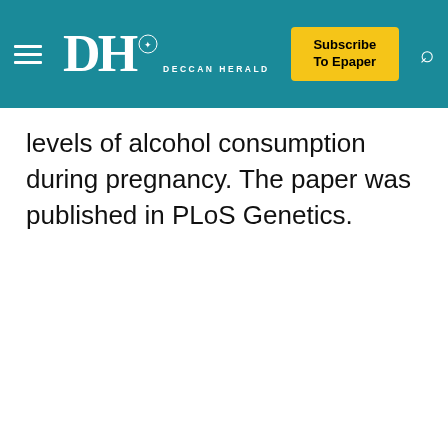DH DECCAN HERALD | Subscribe To Epaper
levels of alcohol consumption during pregnancy. The paper was published in PLoS Genetics.